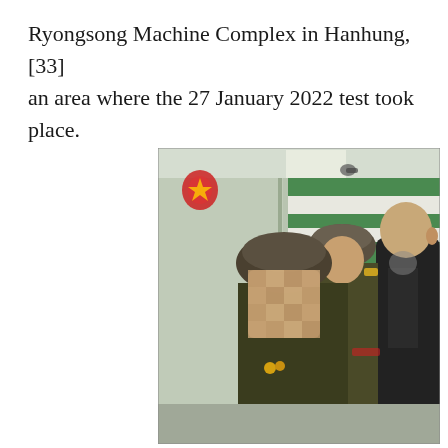Ryongsong Machine Complex in Hanhung, [33] an area where the 27 January 2022 test took place.
[Figure (photo): Interior photograph showing several men in military uniforms with dark olive-green coats and fur hats, along with a man in a dark civilian jacket on the right (face partially visible). One figure in the foreground has a blurred/pixelated face. The background shows a green-and-white paneled wall with a security camera. A small red emblem is visible in the upper left corner of the image.]